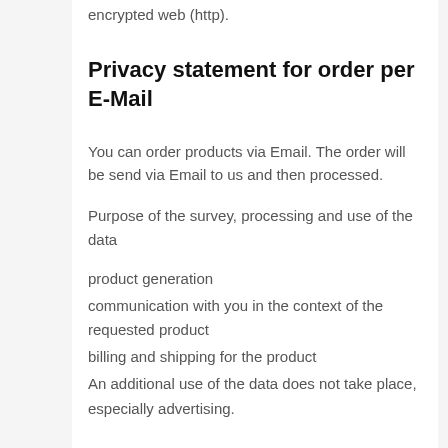encrypted web (http).
Privacy statement for order per E-Mail
You can order products via Email. The order will be send via Email to us and then processed.
Purpose of the survey, processing and use of the data
product generation
communication with you in the context of the requested product
billing and shipping for the product
An additional use of the data does not take place, especially advertising.